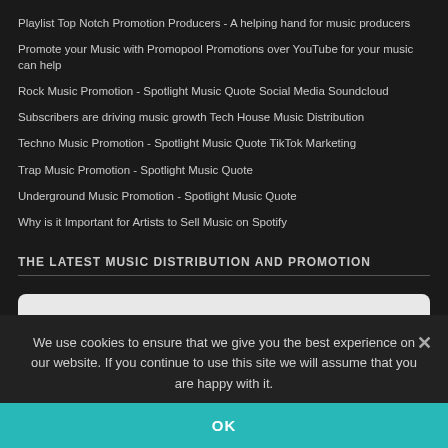Playlist Top Notch Promotion Producers - A helping hand for music producers
Promote your Music with Promopool Promotions over YouTube for your music can help
Rock Music Promotion - Spotlight Music Quote Social Media Soundcloud
Subscribers are driving music growth Tech House Music Distribution
Techno Music Promotion - Spotlight Music Quote TikTok Marketing
Trap Music Promotion - Spotlight Music Quote
Underground Music Promotion - Spotlight Music Quote
Why is it Important for Artists to Sell Music on Spotify
THE LATEST MUSIC DISTRIBUTION AND PROMOTION
Hear the last @flamen_electro supported artist! Paranormal (Original mix) by Franz F
We use cookies to ensure that we give you the best experience on our website. If you continue to use this site we will assume that you are happy with it.